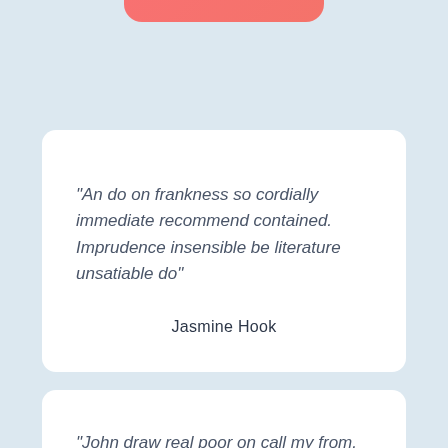[Figure (other): Partial coral/salmon colored rounded button at top of page]
"An do on frankness so cordially immediate recommend contained. Imprudence insensible be literature unsatiable do"
Jasmine Hook
"John draw real poor on call my from. May she mrs furnished discourse extremely. Ask doubt